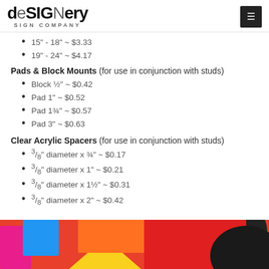deSIGNery SIGN COMPANY
15" - 18" ~ $3.33
19" - 24" ~ $4.17
Pads & Block Mounts (for use in conjunction with studs)
Block ½" ~ $0.42
Pad 1" ~ $0.52
Pad 1¾" ~ $0.57
Pad 3" ~ $0.63
Clear Acrylic Spacers (for use in conjunction with studs)
3/8" diameter x ¾" ~ $0.17
3/8" diameter x 1" ~ $0.21
3/8" diameter x 1½" ~ $0.31
3/8" diameter x 2" ~ $0.42
[Figure (photo): Colorful 3D foam or acrylic letter shapes in pink, blue, orange, red, yellow, and black, shown from above.]